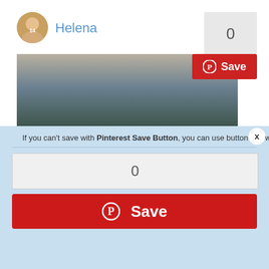[Figure (screenshot): Pinterest save button UI screenshot showing a user profile with avatar and name 'Helena', a save count box showing '0', a red Save button with Pinterest icon, a partial video thumbnail, and a modal overlay with instructions and alternative Save button]
Helena
0
Save
If you can't save with Pinterest Save Button, you can use button below
0
Save
x